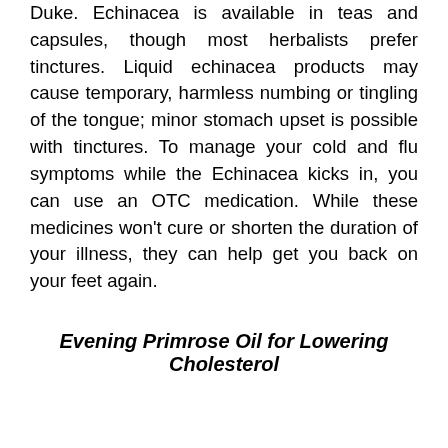Duke. Echinacea is available in teas and capsules, though most herbalists prefer tinctures. Liquid echinacea products may cause temporary, harmless numbing or tingling of the tongue; minor stomach upset is possible with tinctures. To manage your cold and flu symptoms while the Echinacea kicks in, you can use an OTC medication. While these medicines won't cure or shorten the duration of your illness, they can help get you back on your feet again.
Evening Primrose Oil for Lowering Cholesterol